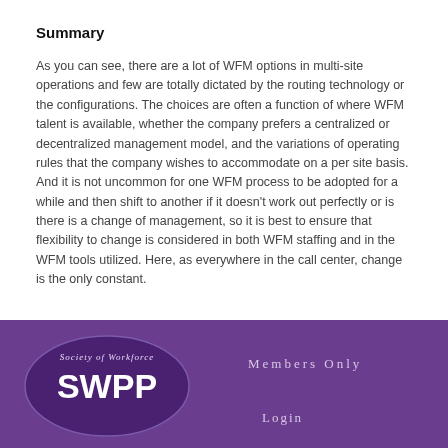Summary
As you can see, there are a lot of WFM options in multi-site operations and few are totally dictated by the routing technology or the configurations. The choices are often a function of where WFM talent is available, whether the company prefers a centralized or decentralized management model, and the variations of operating rules that the company wishes to accommodate on a per site basis. And it is not uncommon for one WFM process to be adopted for a while and then shift to another if it doesn’t work out perfectly or is there is a change of management, so it is best to ensure that flexibility to change is considered in both WFM staffing and in the WFM tools utilized. Here, as everywhere in the call center, change is the only constant.
[Figure (logo): SWPP Society of Workforce Planning Professionals oval logo in white on dark purple background]
Members Only
Login